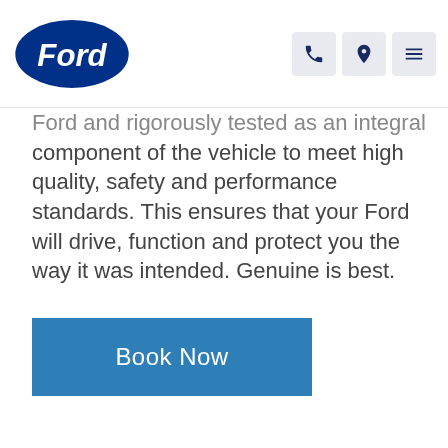[Figure (logo): Ford oval blue logo with 'Ford' script in white]
Ford and rigorously tested as an integral component of the vehicle to meet high quality, safety and performance standards. This ensures that your Ford will drive, function and protect you the way it was intended. Genuine is best.
Book Now